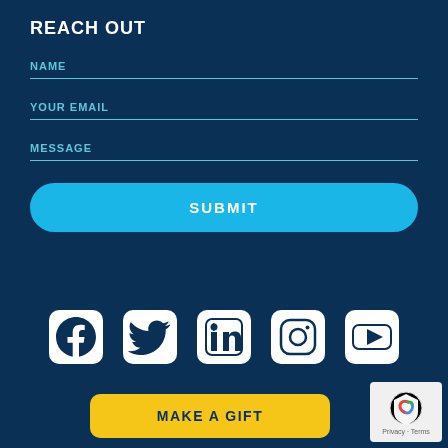REACH OUT
NAME
YOUR EMAIL
MESSAGE
SUBMIT
[Figure (infographic): Social media icons row: Facebook, Twitter, LinkedIn, Instagram, YouTube]
MAKE A GIFT
[Figure (logo): reCAPTCHA badge with Privacy and Terms text]